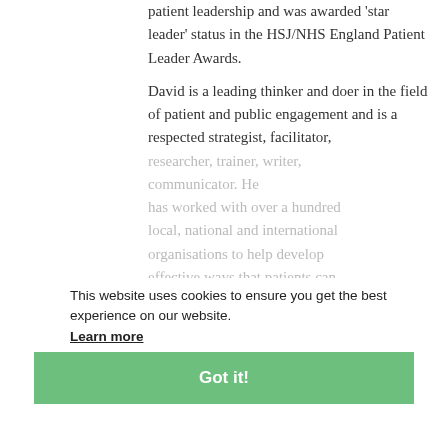patient leadership and was awarded 'star leader' status in the HSJ/NHS England Patient Leader Awards.
David is a leading thinker and doer in the field of patient and public engagement and is a respected strategist, facilitator, researcher, trainer, writer, communicator. He has worked with over a hundred local, national and international organisations to help develop effective ways that patients can be true partners in health and healthcare.
This website uses cookies to ensure you get the best experience on our website.
Learn more
Got it!